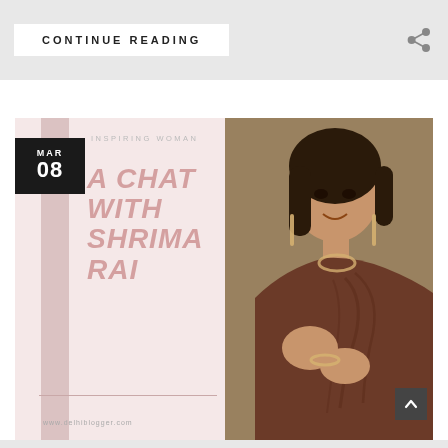CONTINUE READING
[Figure (photo): Blog card featuring a woman (Shrima Rai) wearing a brown saree with diamond jewelry, smiling at camera. Card includes date MAR 08 in a black box, category label INSPIRING WOMAN, and title text A CHAT WITH SHRIMA RAI in pink italic font on a blush background.]
www.delhiblogger.com